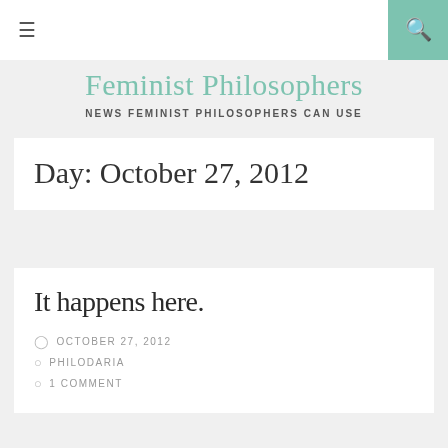☰  [search icon]
Feminist Philosophers
NEWS FEMINIST PHILOSOPHERS CAN USE
Day: October 27, 2012
It happens here.
OCTOBER 27, 2012
PHILODARIA
1 COMMENT